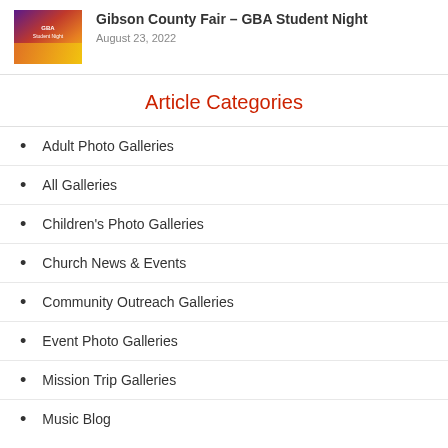[Figure (photo): Thumbnail image for Gibson County Fair GBA Student Night article]
Gibson County Fair – GBA Student Night
August 23, 2022
Article Categories
Adult Photo Galleries
All Galleries
Children's Photo Galleries
Church News & Events
Community Outreach Galleries
Event Photo Galleries
Mission Trip Galleries
Music Blog